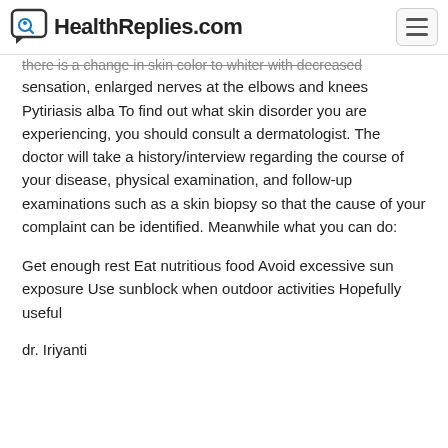HealthReplies.com
there is a change in skin color to whiter with decreased sensation, enlarged nerves at the elbows and knees Pytiriasis alba To find out what skin disorder you are experiencing, you should consult a dermatologist. The doctor will take a history/interview regarding the course of your disease, physical examination, and follow-up examinations such as a skin biopsy so that the cause of your complaint can be identified. Meanwhile what you can do:
Get enough rest Eat nutritious food Avoid excessive sun exposure Use sunblock when outdoor activities Hopefully useful
dr. Iriyanti